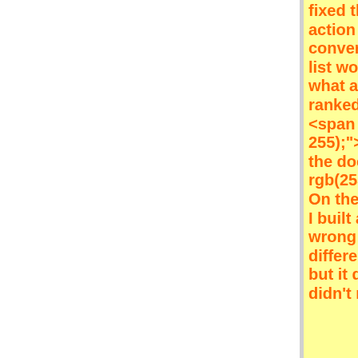fixed this but then rmoved the action - because i wondered if converting a gene set to a ranked list would cause confusion b/w what a gene set is and what a ranked list is. Thoughts?<br /><span style="color: rgb(0, 0, 255);">Agreed; I removed it from the doc.</span><br style="color: rgb(255, 102, 0);" /><br />2. On the Leading Edge Report page, I built a report, realized I built the wrong one, so selected and built a different one. A new tab appears, but it doesn't get the focus (so I didn't notice it at
<span style="color: rgb(255, 102, 0);">I fixed this but then rmoved the action - because i wondered if converting a gene set to a ranked list would cause confusion b/w what a gene set is and what a ranked list is. Thoughts?<br /><span style="color: rgb(0, 0, 255);">Agreed; I removed it from the doc.</span><br style="color: rgb(255, 102, 0);" /><br />2. On the Leading Edge Report page, I built a report, realized I built the wrong one, so selected and built a